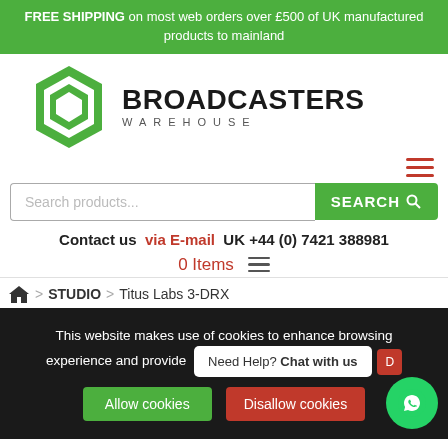FREE SHIPPING on most web orders over £500 of UK manufactured products to mainland
[Figure (logo): Broadcasters Warehouse logo with green hexagon icon and bold text]
Contact us via E-mail UK +44 (0) 7421 388981
0 Items
STUDIO > Titus Labs 3-DRX
This website makes use of cookies to enhance browsing experience and provide
Need Help? Chat with us
Allow cookies   Disallow cookies